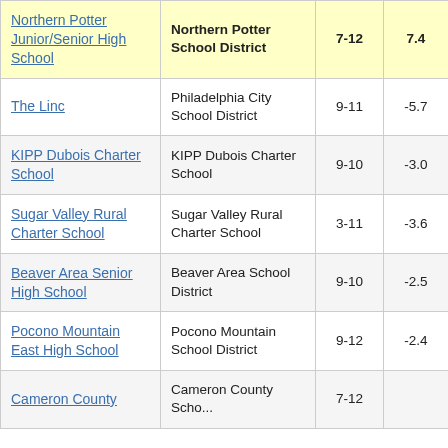| School | District | Grades | Value |
| --- | --- | --- | --- |
| Northern Potter Junior/Senior High School | Northern Potter School District | 7-12 | 7.4 |
| The Linc | Philadelphia City School District | 9-11 | -5.7 |
| KIPP Dubois Charter School | KIPP Dubois Charter School | 9-10 | -3.0 |
| Sugar Valley Rural Charter School | Sugar Valley Rural Charter School | 3-11 | -3.6 |
| Beaver Area Senior High School | Beaver Area School District | 9-10 | -2.5 |
| Pocono Mountain East High School | Pocono Mountain School District | 9-12 | -2.4 |
| Cameron County | Cameron County School... | 7-12 | ... |